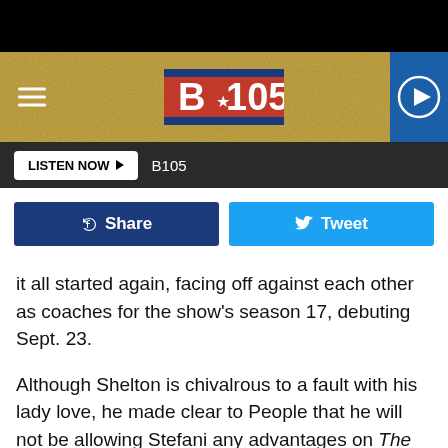[Figure (screenshot): B105 radio station website header with logo, hamburger menu, play button, and navigation bar with LISTEN NOW button]
[Figure (screenshot): Social share buttons row: Facebook Share button (dark blue) and Twitter Tweet button (light blue)]
it all started again, facing off against each other as coaches for the show's season 17, debuting Sept. 23.
Although Shelton is chivalrous to a fault with his lady love, he made clear to People that he will not be allowing Stefani any advantages on The Voice. " I'm not going to let her win," he states adamantly. " I'm going to have to win, but I'm going to have                                   t her.
"I don't
[Figure (screenshot): Advertisement banner: Book a Showroom Appointment - Lovesac, with play icon, Lovesac logo text, and navigation arrow icon]